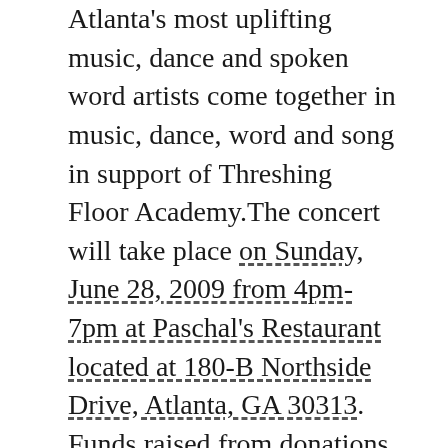Atlanta's most uplifting music, dance and spoken word artists come together in music, dance, word and song in support of Threshing Floor Academy.The concert will take place on Sunday, June 28, 2009 from 4pm-7pm at Paschal's Restaurant located at 180-B Northside Drive, Atlanta, GA 30313. Funds raised from donations and ticket sales will go towards a building fund that will be used to purchase a building for the program to operate out of. Concert attendees can order food at an additional cost from Paschal's legendary menu during the event. A silent auction featuring several luxurious items and services donated by local businesses will also take place during the event. Tickets are available at $15 for adults and $10 for children and can be purchased